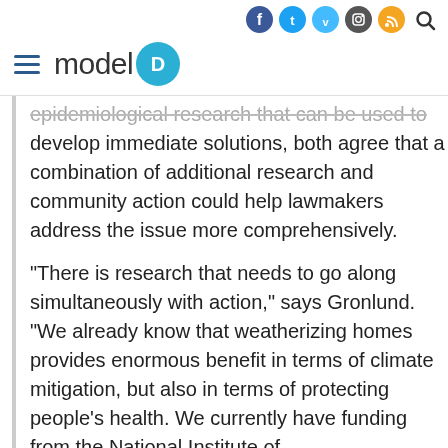model D — navigation header with social icons (Facebook, Twitter, Vimeo, Instagram, RSS, Search) and hamburger menu
epidemiological research that can be used to develop immediate solutions, both agree that a combination of additional research and community action could help lawmakers address the issue more comprehensively.
“There is research that needs to go along simultaneously with action,” says Gronlund. “We already know that weatherizing homes provides enormous benefit in terms of climate mitigation, but also in terms of protecting people’s health. We currently have funding from the National Institute of Environmental Health Sciences to do that —